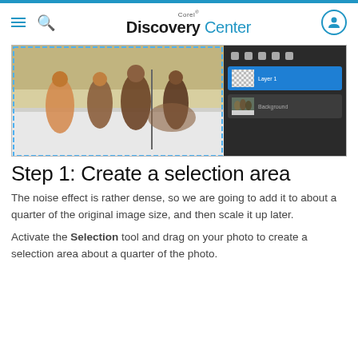Corel Discovery Center
[Figure (screenshot): Screenshot showing a photo of people in winter clothing on snow alongside a Corel photo editing panel with layers including an active transparent layer and a background layer.]
Step 1: Create a selection area
The noise effect is rather dense, so we are going to add it to about a quarter of the original image size, and then scale it up later.
Activate the Selection tool and drag on your photo to create a selection area about a quarter of the photo.